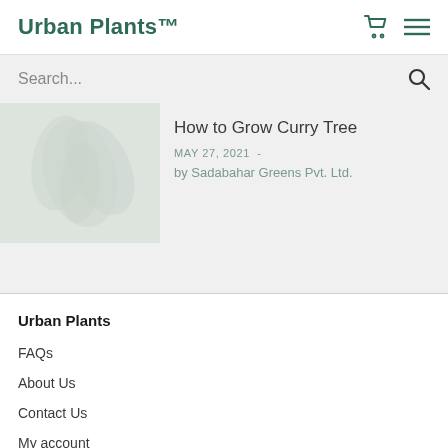Urban Plants™
Search...
[Figure (photo): Faded image of a curry tree plant with light-colored leaves on grey background]
How to Grow Curry Tree
MAY 27, 2021  -
by Sadabahar Greens Pvt. Ltd.
Urban Plants
FAQs
About Us
Contact Us
My account